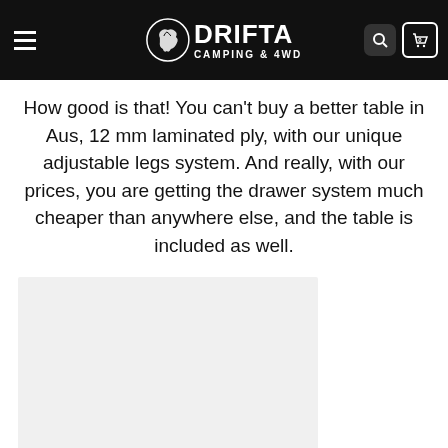DRIFTA CAMPING & 4WD
How good is that! You can't buy a better table in Aus, 12 mm laminated ply, with our unique adjustable legs system. And really, with our prices, you are getting the drawer system much cheaper than anywhere else, and the table is included as well.
[Figure (photo): Placeholder image area, light grey background, no visible content]